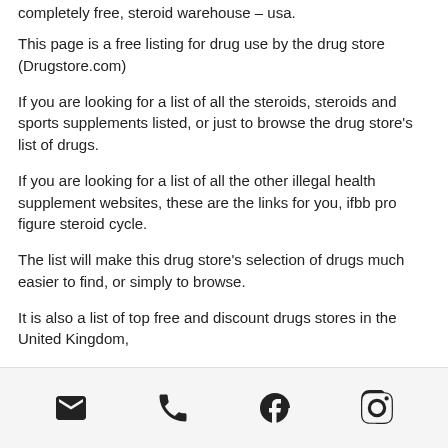completely free, steroid warehouse – usa.
This page is a free listing for drug use by the drug store (Drugstore.com)
If you are looking for a list of all the steroids, steroids and sports supplements listed, or just to browse the drug store's list of drugs.
If you are looking for a list of all the other illegal health supplement websites, these are the links for you, ifbb pro figure steroid cycle.
The list will make this drug store's selection of drugs much easier to find, or simply to browse.
It is also a list of top free and discount drugs stores in the United Kingdom,
[Figure (other): Footer bar with four social/contact icons: email (envelope), phone, Facebook, Instagram]